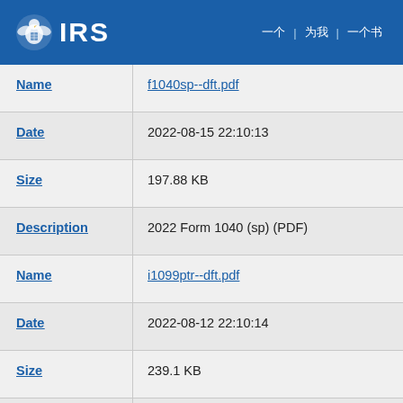IRS
| Field | Value |
| --- | --- |
| Name | f1040sp--dft.pdf |
| Date | 2022-08-15 22:10:13 |
| Size | 197.88 KB |
| Description | 2022 Form 1040 (sp) (PDF) |
| Name | i1099ptr--dft.pdf |
| Date | 2022-08-12 22:10:14 |
| Size | 239.1 KB |
| Description | 2023 Inst 1099-PATR (PDF) |
| Name | f990sh--dft.pdf |
| Date | 2022-08-12 22:10:13 |